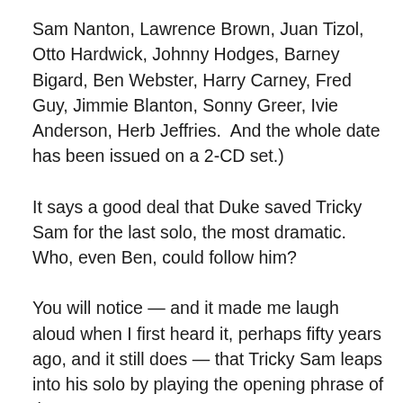Sam Nanton, Lawrence Brown, Juan Tizol, Otto Hardwick, Johnny Hodges, Barney Bigard, Ben Webster, Harry Carney, Fred Guy, Jimmie Blanton, Sonny Greer, Ivie Anderson, Herb Jeffries.  And the whole date has been issued on a 2-CD set.)
It says a good deal that Duke saved Tricky Sam for the last solo, the most dramatic.  Who, even Ben, could follow him?
You will notice — and it made me laugh aloud when I first heard it, perhaps fifty years ago, and it still does — that Tricky Sam leaps into his solo by playing the opening phrase of the 1937 WHISTLE WHILE YOU WORK (Larry Morey and Frank Churchill) from the Disney SNOW WHITE AND THE SEVEN DWARFS.  How it pleases me to imagine Ellington's men taking in an afternoon showing